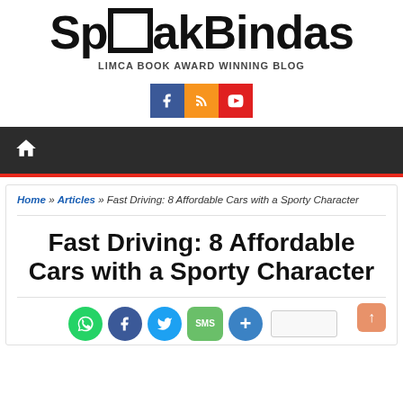[Figure (logo): SpeakBindas logo with stylized text and tagline 'LIMCA BOOK AWARD WINNING BLOG']
[Figure (infographic): Social media buttons row: Facebook (blue), RSS (orange), YouTube (red)]
Navigation bar with home icon
Home » Articles » Fast Driving: 8 Affordable Cars with a Sporty Character
Fast Driving: 8 Affordable Cars with a Sporty Character
[Figure (infographic): Social share buttons: WhatsApp, Facebook, Twitter, SMS, Add. Plus a scroll-to-top button.]